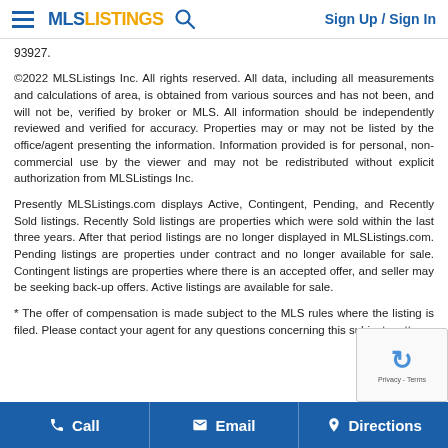MLSListings — Sign Up / Sign In
93927.
©2022 MLSListings Inc. All rights reserved. All data, including all measurements and calculations of area, is obtained from various sources and has not been, and will not be, verified by broker or MLS. All information should be independently reviewed and verified for accuracy. Properties may or may not be listed by the office/agent presenting the information. Information provided is for personal, non-commercial use by the viewer and may not be redistributed without explicit authorization from MLSListings Inc.
Presently MLSListings.com displays Active, Contingent, Pending, and Recently Sold listings. Recently Sold listings are properties which were sold within the last three years. After that period listings are no longer displayed in MLSListings.com. Pending listings are properties under contract and no longer available for sale. Contingent listings are properties where there is an accepted offer, and seller may be seeking back-up offers. Active listings are available for sale.
* The offer of compensation is made subject to the MLS rules where the listing is filed. Please contact your agent for any questions concerning this subject matter.
Call   Email   Directions